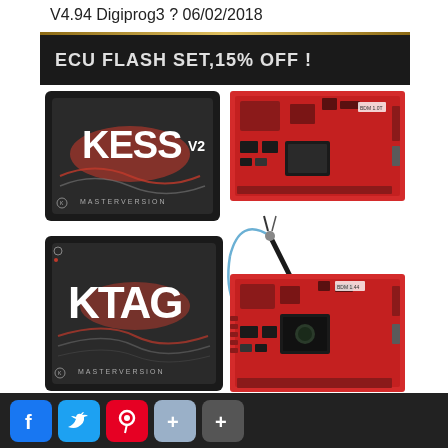V4.94 Digiprog3 ? 06/02/2018
[Figure (photo): ECU Flash Set product advertisement showing KESS V2 and KTAG ECU tuning devices with circuit boards, 15% OFF banner. Includes social media sharing buttons (Facebook, Twitter, Pinterest, Google+, More) at the bottom.]